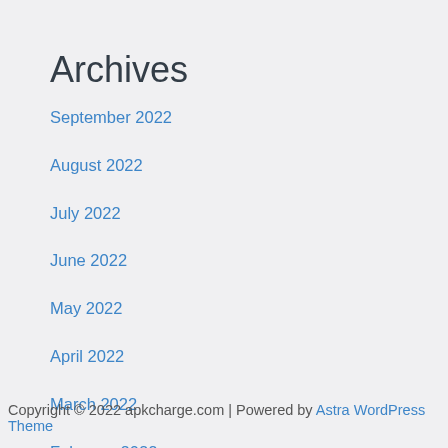Archives
September 2022
August 2022
July 2022
June 2022
May 2022
April 2022
March 2022
February 2022
Copyright © 2022 apkcharge.com | Powered by Astra WordPress Theme